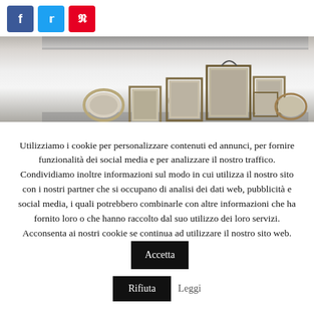[Figure (other): Social share buttons: Facebook (blue), Twitter (light blue), Pinterest (red)]
[Figure (photo): Interior gallery wall with multiple framed artworks/pictures arranged in ascending height order on a white wall]
Utilizziamo i cookie per personalizzare contenuti ed annunci, per fornire funzionalità dei social media e per analizzare il nostro traffico. Condividiamo inoltre informazioni sul modo in cui utilizza il nostro sito con i nostri partner che si occupano di analisi dei dati web, pubblicità e social media, i quali potrebbero combinarle con altre informazioni che ha fornito loro o che hanno raccolto dal suo utilizzo dei loro servizi. Acconsenta ai nostri cookie se continua ad utilizzare il nostro sito web.
Accetta
Rifiuta
Leggi